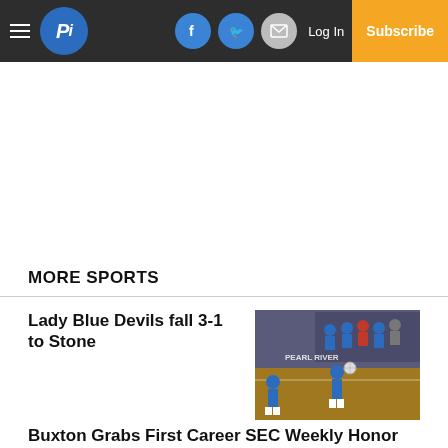PI — navigation bar with hamburger menu, logo, Facebook, Twitter, email icons, Log In, Subscribe
MORE SPORTS
Lady Blue Devils fall 3-1 to Stone
[Figure (photo): Volleyball game photo showing players in blue uniforms on a court, with spectators sitting on bleachers in background. 'PEARL RIVER' text visible on gym wall.]
Buxton Grabs First Career SEC Weekly Honor